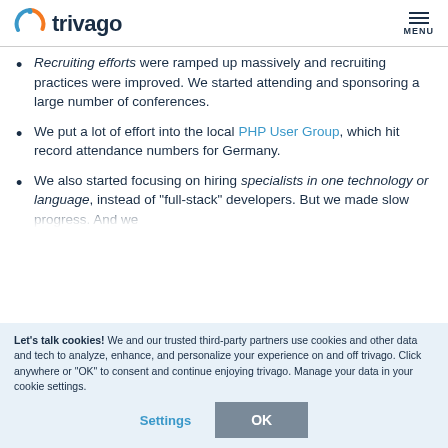trivago
Recruiting efforts were ramped up massively and recruiting practices were improved. We started attending and sponsoring a large number of conferences.
We put a lot of effort into the local PHP User Group, which hit record attendance numbers for Germany.
We also started focusing on hiring specialists in one technology or language, instead of "full-stack" developers. But we made slow progress. And we
Let's talk cookies! We and our trusted third-party partners use cookies and other data and tech to analyze, enhance, and personalize your experience on and off trivago. Click anywhere or "OK" to consent and continue enjoying trivago. Manage your data in your cookie settings.